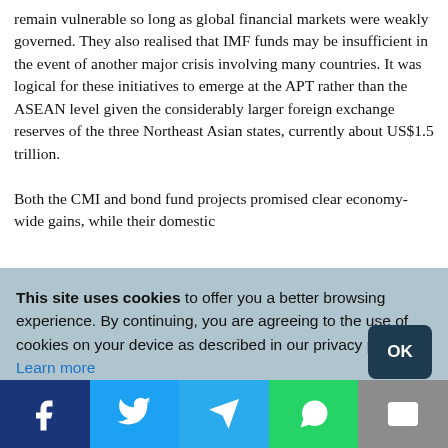remain vulnerable so long as global financial markets were weakly governed. They also realised that IMF funds may be insufficient in the event of another major crisis involving many countries. It was logical for these initiatives to emerge at the APT rather than the ASEAN level given the considerably larger foreign exchange reserves of the three Northeast Asian states, currently about US$1.5 trillion.

Both the CMI and bond fund projects promised clear economy-wide gains, while their domestic
This site uses cookies to offer you a better browsing experience. By continuing, you are agreeing to the use of cookies on your device as described in our privacy policy. Learn more
[Figure (infographic): Social sharing bar with Facebook, Twitter, Telegram, WhatsApp, and Email buttons]